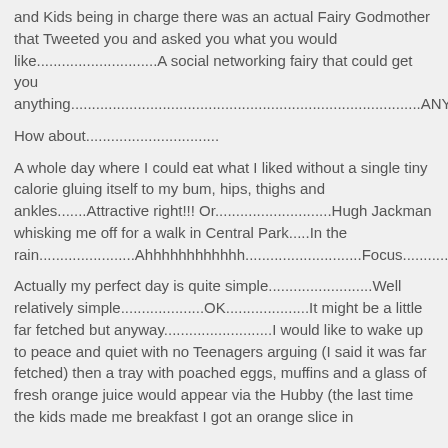and Kids being in charge there was an actual Fairy Godmother that Tweeted you and asked you what you would like.............................A social networking fairy that could get you anything....................................................................................ANYTHING!!!!
How about................................
A whole day where I could eat what I liked without a single tiny calorie gluing itself to my bum, hips, thighs and ankles.......Attractive right!!! Or............................Hugh Jackman whisking me off for a walk in Central Park.....In the rain.......................Ahhhhhhhhhhhh............................Focus....................…
Actually my perfect day is quite simple.........................Well relatively simple....................OK....................It might be a little far fetched but anyway..........................I would like to wake up to peace and quiet with no Teenagers arguing (I said it was far fetched) then a tray with poached eggs, muffins and a glass of fresh orange juice would appear via the Hubby (the last time the kids made me breakfast I got an orange slice in...